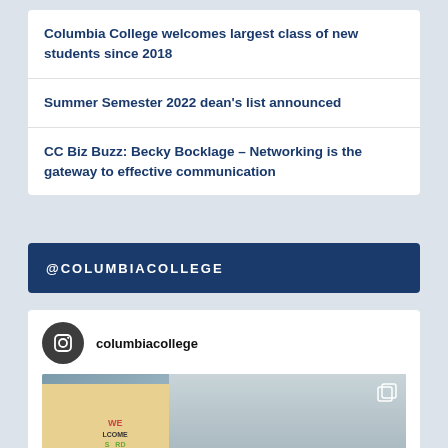Columbia College welcomes largest class of new students since 2018
Summer Semester 2022 dean’s list announced
CC Biz Buzz: Becky Bocklage – Networking is the gateway to effective communication
@COLUMBIACOLLEGE
[Figure (screenshot): Instagram profile card for columbiacollege with profile icon and photo of students at welcome sign]
columbiacollege